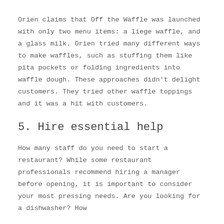Orien claims that Off the Waffle was launched with only two menu items: a liege waffle, and a glass milk. Orien tried many different ways to make waffles, such as stuffing them like pita pockets or folding ingredients into waffle dough. These approaches didn't delight customers. They tried other waffle toppings and it was a hit with customers.
5. Hire essential help
How many staff do you need to start a restaurant? While some restaurant professionals recommend hiring a manager before opening, it is important to consider your most pressing needs. Are you looking for a dishwasher? How